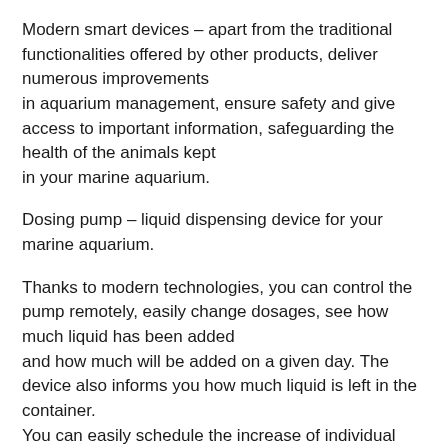Modern smart devices – apart from the traditional functionalities offered by other products, deliver numerous improvements in aquarium management, ensure safety and give access to important information, safeguarding the health of the animals kept in your marine aquarium.
Dosing pump – liquid dispensing device for your marine aquarium.
Thanks to modern technologies, you can control the pump remotely, easily change dosages, see how much liquid has been added and how much will be added on a given day. The device also informs you how much liquid is left in the container. You can easily schedule the increase of individual parameters